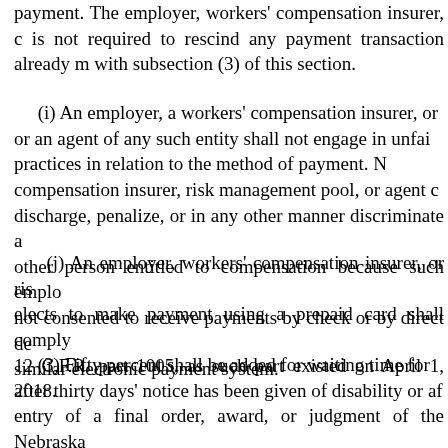payment. The employer, workers' compensation insurer, or agent is not required to rescind any payment transaction already made with subsection (3) of this section.
(i) An employer, a workers' compensation insurer, or an agent of any such entity shall not engage in unfair practices in relation to the method of payment. No compensation insurer, risk management pool, or agent can discharge, penalize, or in any other manner discriminate against other person entitled to compensation because such employee has not consented to receive payments by check or by direct deposit or similar electronic payment system.
(j) An employer, workers' compensation insurer, or risk manager elects to make payment using a prepaid card shall comply with 12 C.F.R. part 1005, as such part existed on April 1, 2018.
(3) Fifty percent shall be added for waiting time for after thirty days' notice has been given of disability or after entry of a final order, award, or judgment of the Nebraska Court, except that for any award or judgment against the